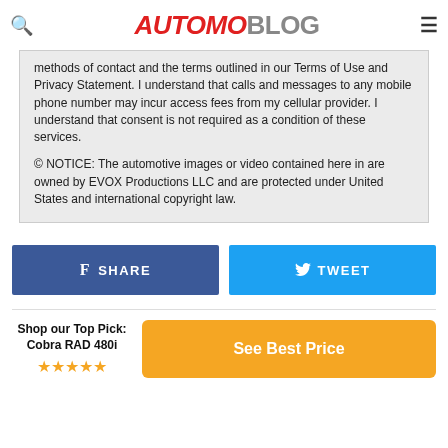AUTOMOBLOG
methods of contact and the terms outlined in our Terms of Use and Privacy Statement. I understand that calls and messages to any mobile phone number may incur access fees from my cellular provider. I understand that consent is not required as a condition of these services.

© NOTICE: The automotive images or video contained here in are owned by EVOX Productions LLC and are protected under United States and international copyright law.
SHARE
TWEET
Shop our Top Pick: Cobra RAD 480i
See Best Price